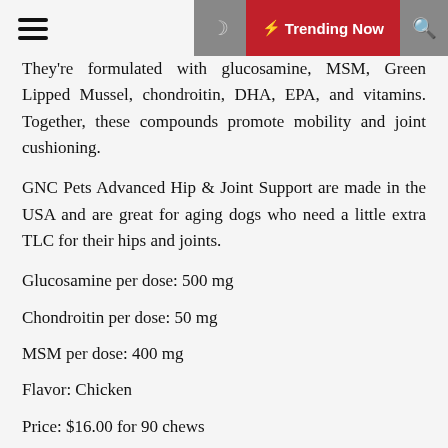⚡ Trending Now
They're formulated with glucosamine, MSM, Green Lipped Mussel, chondroitin, DHA, EPA, and vitamins. Together, these compounds promote mobility and joint cushioning.
GNC Pets Advanced Hip & Joint Support are made in the USA and are great for aging dogs who need a little extra TLC for their hips and joints.
Glucosamine per dose: 500 mg
Chondroitin per dose: 50 mg
MSM per dose: 400 mg
Flavor: Chicken
Price: $16.00 for 90 chews
14. Nutramax Cosequin Maximum